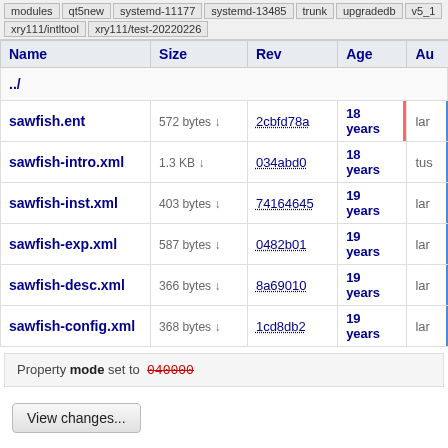modules | qt5new | systemd-11177 | systemd-13485 | trunk | upgradedb | v5_1 | xry111/intltool | xry111/test-20220226
| Name | Size | Rev | Age | Au |
| --- | --- | --- | --- | --- |
| ../ |  |  |  |  |
| sawfish.ent | 572 bytes | 2cbfd78a | 18 years | lar |
| sawfish-intro.xml | 1.3 KB | 034abd0 | 18 years | tus |
| sawfish-inst.xml | 403 bytes | 74164645 | 19 years | lar |
| sawfish-exp.xml | 587 bytes | 0482b01 | 19 years | lar |
| sawfish-desc.xml | 366 bytes | 8a69010 | 19 years | lar |
| sawfish-config.xml | 368 bytes | 1cd8db2 | 19 years | lar |
Property mode set to 040000
View changes...
Note: See TracBrowser for help on using the repository browser.
Powered by Trac 1.5.3.dev0 By Edgewall Software.